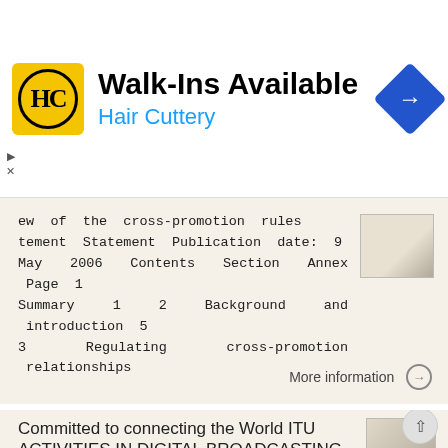[Figure (other): Hair Cuttery advertisement banner with logo, 'Walk-Ins Available' heading, and navigation icon]
ew of the cross-promotion rules tement Statement Publication date: 9 May 2006 Contents Section Annex Page 1 Summary 1 2 Background and introduction 5 3 Regulating cross-promotion relationships
More information →
Committed to connecting the World ITU ACTIVITIES IN DIGITAL BROADCASTING TRANSITION. JO, GueJo
ITU ACTIVITIES IN DIGITAL BROADCASTING TRANSITION JO, GueJo Senior Engineer On Spectrum Management and Broadcasting ITU BDT ITU-ASBU REGIONAL SEMINAR on MULTIMEDIA PRODUCTION